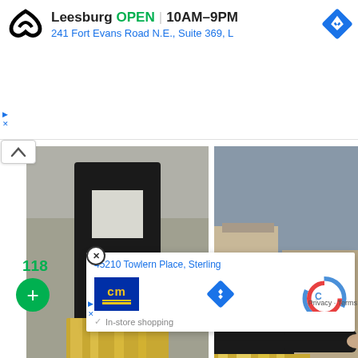[Figure (screenshot): Under Armour store ad banner showing 'Leesburg OPEN 10AM–9PM' and address '241 Fort Evans Road N.E., Suite 369, L' with navigation diamond icon and Under Armour logo]
Leesburg  OPEN | 10AM–9PM
241 Fort Evans Road N.E., Suite 369, L
[Figure (photo): Left fashion photo: woman in black leather jacket and gold metallic pleated skirt holding flowers, street scene]
[Figure (photo): Right fashion photo: person in black leather jacket and gold metallic pleated skirt leaning on ornate iron fence with buildings in background]
[Figure (screenshot): Bottom section showing a store card popup for cm logo store at '45210 Towlern Place, Sterling' with navigation diamond, reCAPTCHA icon, and 'In-store shopping' text. Shows number 118 and green plus button.]
45210 Towlern Place, Sterling
In-store shopping
118
Privacy · Terms